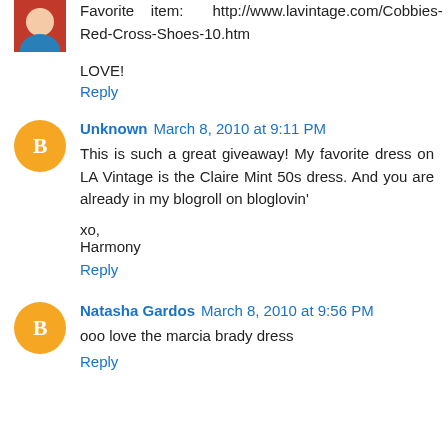Favorite item: http://www.lavintage.com/Cobbies-Red-Cross-Shoes-10.htm
LOVE!
Reply
Unknown  March 8, 2010 at 9:11 PM
This is such a great giveaway! My favorite dress on LA Vintage is the Claire Mint 50s dress. And you are already in my blogroll on bloglovin'

xo,
Harmony
Reply
Natasha Gardos  March 8, 2010 at 9:56 PM
ooo love the marcia brady dress
Reply